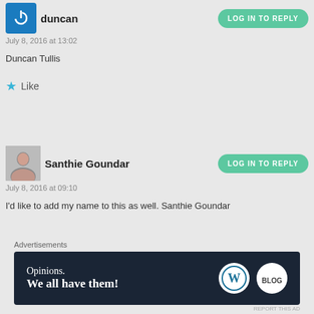duncan
July 8, 2016 at 13:02

Duncan Tullis

★ Like
Santhie Goundar
July 8, 2016 at 09:10

I'd like to add my name to this as well. Santhie Goundar
[Figure (other): Advertisement banner: 'Opinions. We all have them!' with WordPress and BlogHer logos on dark navy background]